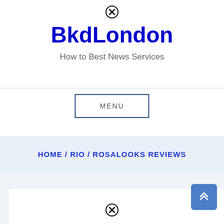[Figure (logo): Close/cancel circle icon (X in circle) at top]
BkdLondon
How to Best News Services
MENU
HOME / RIO / ROSALOOKS REVIEWS
[Figure (other): Scroll-to-top button with double chevron up arrow, blue square]
[Figure (other): Close/cancel circle icon (X in circle) at bottom]